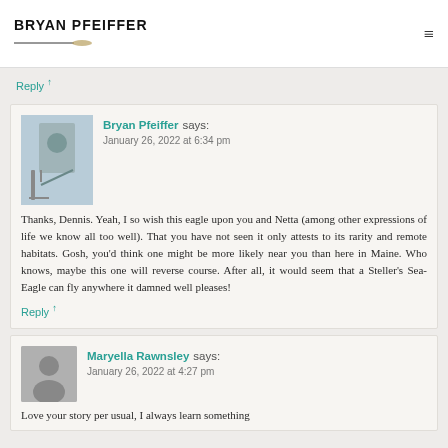BRYAN PFEIFFER
Reply ↑
Bryan Pfeiffer says:
January 26, 2022 at 6:34 pm
Thanks, Dennis. Yeah, I so wish this eagle upon you and Netta (among other expressions of life we know all too well). That you have not seen it only attests to its rarity and remote habitats. Gosh, you'd think one might be more likely near you than here in Maine. Who knows, maybe this one will reverse course. After all, it would seem that a Steller's Sea-Eagle can fly anywhere it damned well pleases!
Reply ↑
Maryella Rawnsley says:
January 26, 2022 at 4:27 pm
Love your story per usual, I always learn something